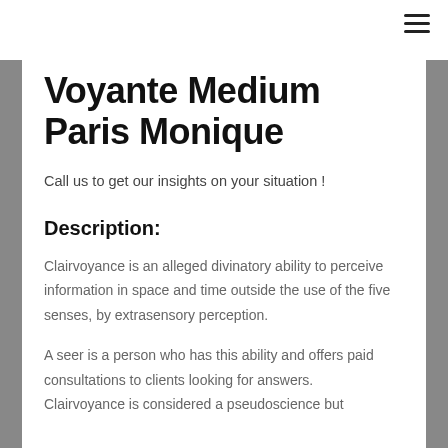Navigation bar with hamburger menu
Voyante Medium Paris Monique
Call us to get our insights on your situation !
Description:
Clairvoyance is an alleged divinatory ability to perceive information in space and time outside the use of the five senses, by extrasensory perception.
A seer is a person who has this ability and offers paid consultations to clients looking for answers. Clairvoyance is considered a pseudoscience but